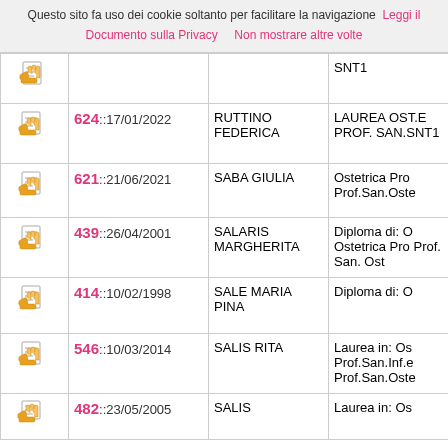Questo sito fa uso dei cookie soltanto per facilitare la navigazione  Leggi il Documento sulla Privacy    Non mostrare altre volte
|  | ID::Data | Nome | Titolo |
| --- | --- | --- | --- |
| [icon] |  |  | SNT1 |
| [icon] | 624::17/01/2022 | RUTTINO FEDERICA | LAUREA OST.E PROF. SAN.SNT1 |
| [icon] | 621::21/06/2021 | SABA GIULIA | Ostetrica Pro Prof.San.Oste |
| [icon] | 439::26/04/2001 | SALARIS MARGHERITA | Diploma di: O Ostetrica Pro Prof. San. Ost |
| [icon] | 414::10/02/1998 | SALE MARIA PINA | Diploma di: O |
| [icon] | 546::10/03/2014 | SALIS RITA | Laurea in: Os Prof.San.Inf.e Prof.San.Oste |
| [icon] | 482::23/05/2005 | SALIS | Laurea in: Os |